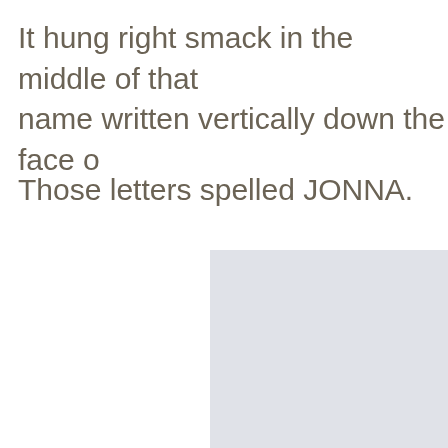It hung right smack in the middle of that name written vertically down the face o
Those letters spelled JONNA.
[Figure (illustration): A light gray rectangular image area, partially visible, occupying the lower right portion of the page.]